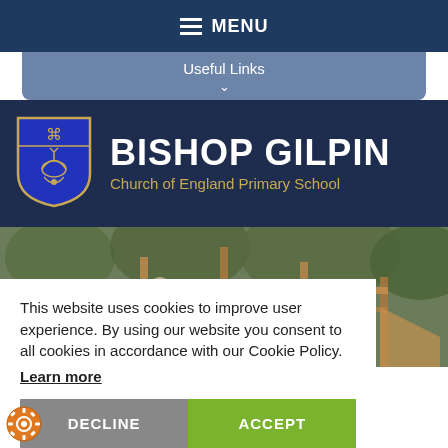MENU
Useful Links
[Figure (logo): Bishop Gilpin Church of England Primary School shield logo in blue and gold, with school name text]
[Figure (photo): Children playing on wooden outdoor climbing frame surrounded by trees]
This website uses cookies to improve user experience. By using our website you consent to all cookies in accordance with our Cookie Policy. Learn more
DECLINE
ACCEPT